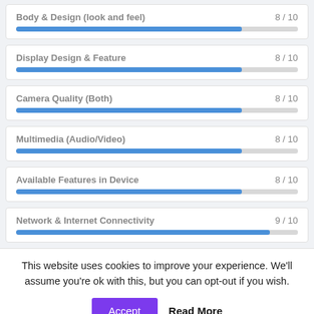[Figure (bar-chart): Ratings]
This website uses cookies to improve your experience. We'll assume you're ok with this, but you can opt-out if you wish.
Accept
Read More